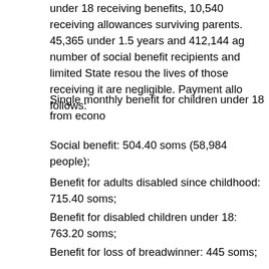under 18 receiving benefits, 10,540 receiving allowances surviving parents. 45,365 under 1.5 years and 412,144 ag number of social benefit recipients and limited State resou the lives of those receiving it are negligible. Payment allo follows:
Single monthly benefit for children under 18 from econo
Social benefit: 504.40 soms (58,984 people);
Benefit for adults disabled since childhood: 715.40 soms;
Benefit for disabled children under 18: 763.20 soms;
Benefit for loss of breadwinner: 445 soms;
Children in foster care: 200 soms.
Since 1 January 2010 the State has provided ten types of s categories covering about one fourth of the population. Th special facilities and residential care homes, as well as el 11,000 people). All local authorities have introduced low- the family members, their education and occupation, acco monthly income per household member is below the pove provision, including for children with special needs, as re and keep records of educational levels and occupations.